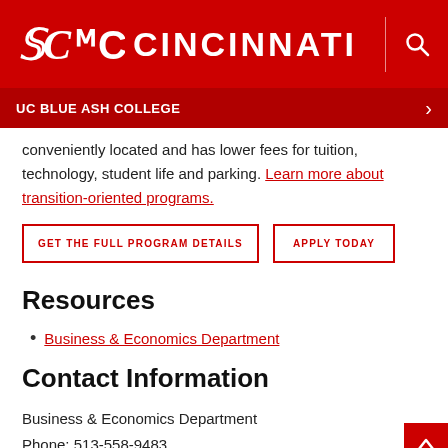UC CINCINNATI — UC BLUE ASH COLLEGE
conveniently located and has lower fees for tuition, technology, student life and parking. Learn more about transition-oriented programs.
GET THE FULL PROGRAM DETAILS | APPLY TODAY
Resources
Business & Economics Department
Contact Information
Business & Economics Department
Phone: 513-558-9483